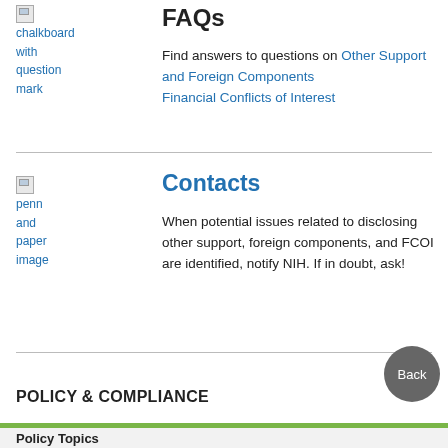[Figure (illustration): Broken image placeholder labeled 'chalkboard with question mark']
FAQs
Find answers to questions on Other Support and Foreign Components Financial Conflicts of Interest
[Figure (illustration): Broken image placeholder labeled 'penn and paper image']
Contacts
When potential issues related to disclosing other support, foreign components, and FCOI are identified, notify NIH. If in doubt, ask!
POLICY & COMPLIANCE
Policy Topics